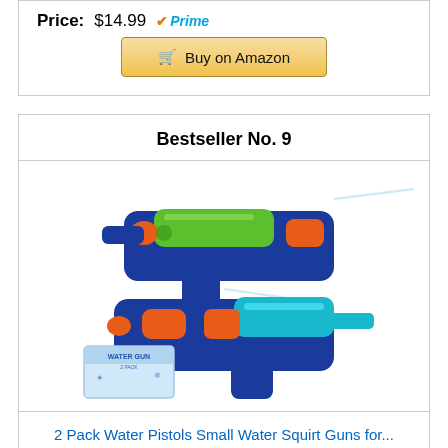Price: $14.99 ✓Prime
Buy on Amazon
Bestseller No. 9
[Figure (photo): Two water pistols (one green/blue, one teal/blue, both with orange accents) and a product box labeled 'Water Gun']
2 Pack Water Pistols Small Water Squirt Guns for...